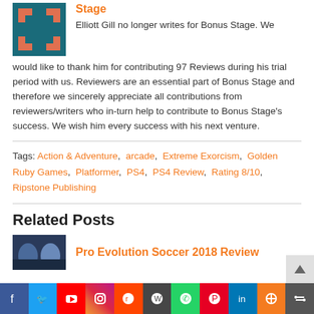Stage
Elliott Gill no longer writes for Bonus Stage. We would like to thank him for contributing 97 Reviews during his trial period with us. Reviewers are an essential part of Bonus Stage and therefore we sincerely appreciate all contributions from reviewers/writers who in-turn help to contribute to Bonus Stage's success. We wish him every success with his next venture.
Tags: Action & Adventure, arcade, Extreme Exorcism, Golden Ruby Games, Platformer, PS4, PS4 Review, Rating 8/10, Ripstone Publishing
Related Posts
Pro Evolution Soccer 2018 Review